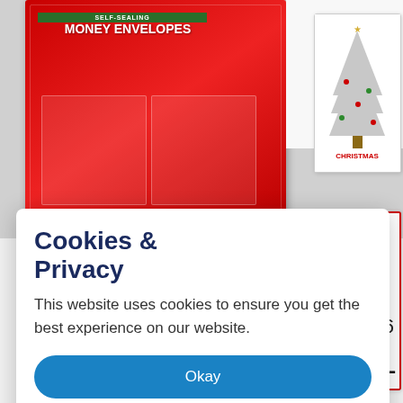[Figure (photo): Screenshot of a retail product page showing Christmas money envelopes in a red display box, with thumbnail images of greeting cards. A cookie consent modal overlays the lower-left portion of the page.]
Cookies & Privacy
This website uses cookies to ensure you get the best experience on our website.
Okay
More
Cards. 36
ment – lets